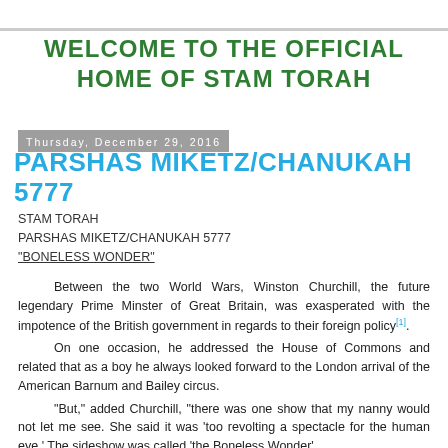WELCOME TO THE OFFICIAL HOME OF STAM TORAH
Thursday, December 29, 2016
PARSHAS MIKETZ/CHANUKAH 5777
STAM TORAH
PARSHAS MIKETZ/CHANUKAH 5777
“BONELESS WONDER”
Between the two World Wars, Winston Churchill, the future legendary Prime Minster of Great Britain, was exasperated with the impotence of the British government in regards to their foreign policy[1].
	On one occasion, he addressed the House of Commons and related that as a boy he always looked forward to the London arrival of the American Barnum and Bailey circus.
	“But,” added Churchill, “there was one show that my nanny would not let me see. She said it was ‘too revolting a spectacle for the human eye.’ The sideshow was called ‘the Boneless Wonder’.